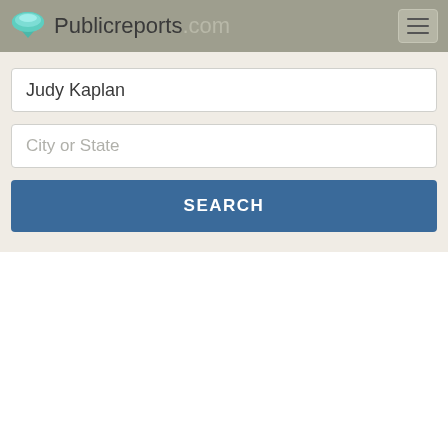Publicreports.com
Judy Kaplan
City or State
SEARCH